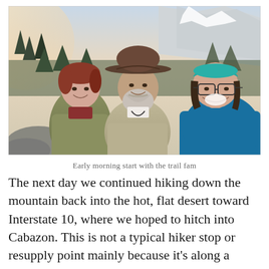[Figure (photo): Three hikers posing together outdoors in the early morning. Left: a woman with short reddish hair wearing an olive green puffer jacket. Center: a man with a wide-brimmed hat and gray beard wearing a tan vest. Right: a woman wearing glasses and a teal headband with a blue jacket. Background shows mountains and trees with early morning light.]
Early morning start with the trail fam
The next day we continued hiking down the mountain back into the hot, flat desert toward Interstate 10, where we hoped to hitch into Cabazon. This is not a typical hiker stop or resupply point mainly because it's along a major